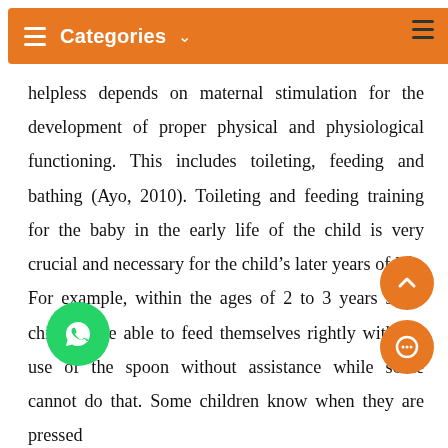≡ Categories ˅
helpless depends on maternal stimulation for the development of proper physical and physiological functioning. This includes toileting, feeding and bathing (Ayo, 2010). Toileting and feeding training for the baby in the early life of the child is very crucial and necessary for the child's later years of life. For example, within the ages of 2 to 3 years some children are able to feed themselves rightly with the use of the spoon without assistance while some cannot do that. Some children know when they are pressed